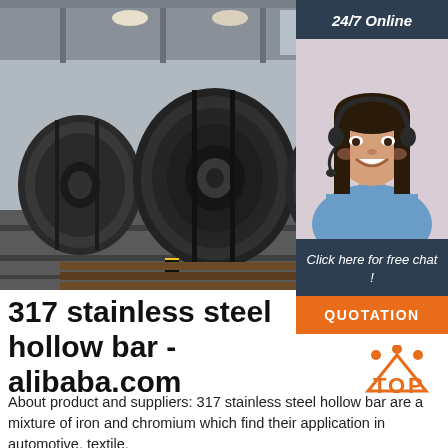[Figure (photo): Large rolls of black steel coil stacked in an industrial warehouse/factory setting]
[Figure (photo): 24/7 Online customer service representative (smiling woman with headset) with dark blue background panel, 'Click here for free chat!' text, and orange QUOTATION button]
317 stainless steel hollow bar - alibaba.com
[Figure (logo): TOP logo with orange triangular arrow shape and 'TOP' text]
About product and suppliers: 317 stainless steel hollow bar are a mixture of iron and chromium which find their application in automotive, textile,